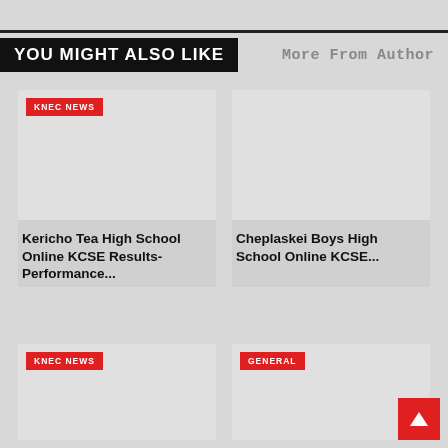YOU MIGHT ALSO LIKE
More From Author
KNEC NEWS
[Figure (photo): Image placeholder for Kericho Tea High School article]
Kericho Tea High School Online KCSE Results- Performance...
KNEC NEWS
[Figure (photo): Image placeholder for Cheplaskei Boys High School article]
Cheplaskei Boys High School Online KCSE...
KNEC NEWS
[Figure (photo): Image placeholder for bottom-left article]
GENERAL
[Figure (photo): Image placeholder for bottom-right article]